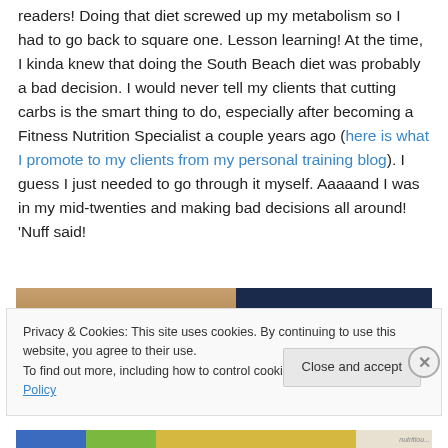readers! Doing that diet screwed up my metabolism so I had to go back to square one. Lesson learning! At the time, I kinda knew that doing the South Beach diet was probably a bad decision. I would never tell my clients that cutting carbs is the smart thing to do, especially after becoming a Fitness Nutrition Specialist a couple years ago (here is what I promote to my clients from my personal training blog). I guess I just needed to go through it myself. Aaaaand I was in my mid-twenties and making bad decisions all around! 'Nuff said!
[Figure (photo): Partial image strip showing a person and a dark navy background]
Privacy & Cookies: This site uses cookies. By continuing to use this website, you agree to their use.
To find out more, including how to control cookies, see here: Cookie Policy
Close and accept